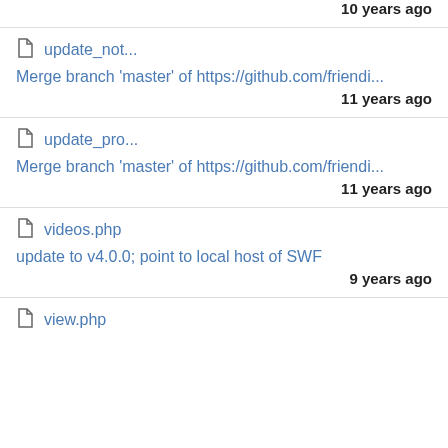10 years ago
update_not...
Merge branch 'master' of https://github.com/friendi...
11 years ago
update_pro...
Merge branch 'master' of https://github.com/friendi...
11 years ago
videos.php
update to v4.0.0; point to local host of SWF
9 years ago
view.php